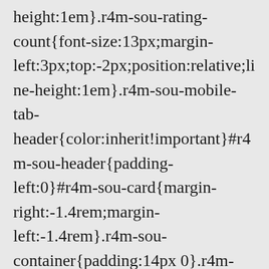height:1em}.r4m-sou-rating-count{font-size:13px;margin-left:3px;top:-2px;position:relative;line-height:1em}.r4m-sou-mobile-tab-header{color:inherit!important}#r4m-sou-header{padding-left:0}#r4m-sou-card{margin-right:-1.4rem;margin-left:-1.4rem}.r4m-sou-container{padding:14px 0}.r4m-sou-comparison-details{margin-top:10px;border:1px solid #eaeded;border-radius:4px}.r4m-sou-comparison-details:last-child{padding-bottom:27px}.r4m-sou-comparison-header-price *{font-size:32px!important} EXPAWLORER Dog Life Jacket Pet Float Coat Vest ... Please try your search again later. AmazonUIPageJS :